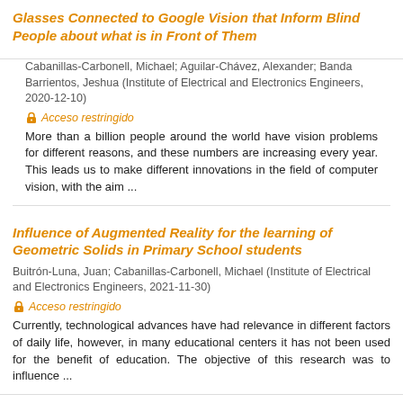Glasses Connected to Google Vision that Inform Blind People about what is in Front of Them
Cabanillas-Carbonell, Michael; Aguilar-Chávez, Alexander; Banda Barrientos, Jeshua (Institute of Electrical and Electronics Engineers, 2020-12-10)
Acceso restringido
More than a billion people around the world have vision problems for different reasons, and these numbers are increasing every year. This leads us to make different innovations in the field of computer vision, with the aim ...
Influence of Augmented Reality for the learning of Geometric Solids in Primary School students
Buitrón-Luna, Juan; Cabanillas-Carbonell, Michael (Institute of Electrical and Electronics Engineers, 2021-11-30)
Acceso restringido
Currently, technological advances have had relevance in different factors of daily life, however, in many educational centers it has not been used for the benefit of education. The objective of this research was to influence ...
IoT System for Vital Signs Monitoring in Suspicious Cases of Covid-19